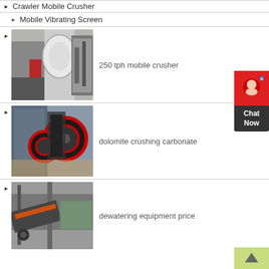Crawler Mobile Crusher
Mobile Vibrating Screen
[Figure (photo): Industrial grinding/milling machine in a factory setting]
250 tph mobile crusher
[Figure (photo): Jaw crusher machine in a factory setting]
dolomite crushing carbonate
[Figure (photo): Vibrating screen / dewatering equipment in a factory]
dewatering equipment price